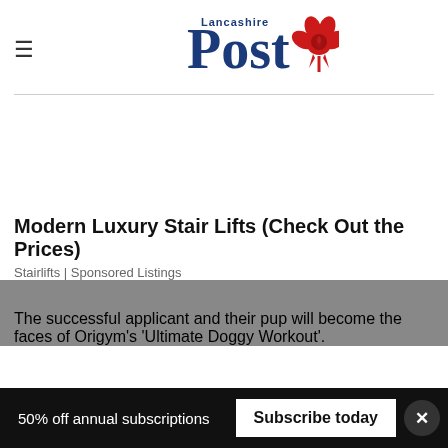Lancashire Post
[Figure (logo): Lancashire Post logo with blue serif text and red rose graphic]
Modern Luxury Stair Lifts (Check Out the Prices)
Stairlifts | Sponsored Listings
The successful applicant and their pup will become the faces of Origym’s ‘Ultimate Doggy Workout’.
50% off annual subscriptions  Subscribe today